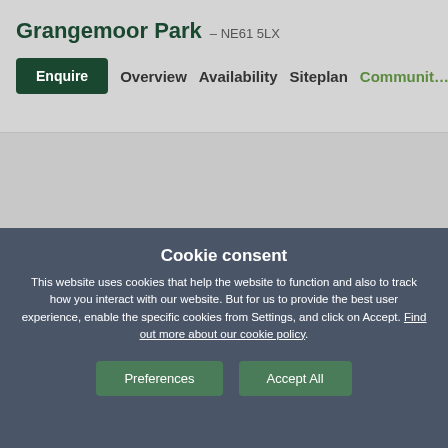Grangemoor Park – NE61 5LX
Enquire  Overview  Availability  Siteplan  Communit…
[Figure (screenshot): Grey placeholder area below navigation bar]
Cookie consent
This website uses cookies that help the website to function and also to track how you interact with our website. But for us to provide the best user experience, enable the specific cookies from Settings, and click on Accept. Find out more about our cookie policy.
Preferences  Accept All